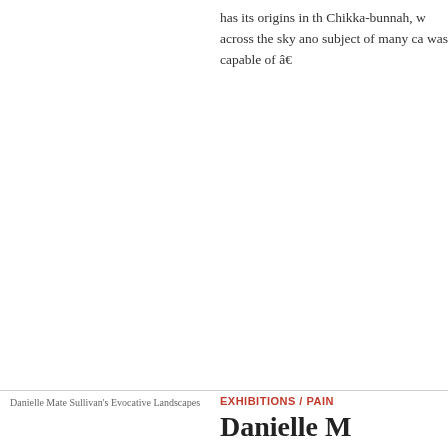has its origins in the Chikka-bunnah, w across the sky and subject of many ca was capable of â€
[Figure (photo): Danielle Mate Sullivan's Evocative Landscapes - thumbnail image placeholder]
EXHIBITIONS / PAIN
Danielle M Evocative
by DI on May 7, 2013
Danielle M Sulliva Kunja people of Q Fairfield NSW and young career as a This collection of w space and is a deli